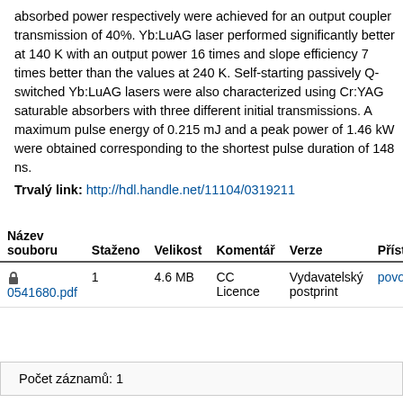absorbed power respectively were achieved for an output coupler transmission of 40%. Yb:LuAG laser performed significantly better at 140 K with an output power 16 times and slope efficiency 7 times better than the values at 240 K. Self-starting passively Q-switched Yb:LuAG lasers were also characterized using Cr:YAG saturable absorbers with three different initial transmissions. A maximum pulse energy of 0.215 mJ and a peak power of 1.46 kW were obtained corresponding to the shortest pulse duration of 148 ns.
Trvalý link: http://hdl.handle.net/11104/0319211
| Název souboru | Staženo | Velikost | Komentář | Verze | Přístu |
| --- | --- | --- | --- | --- | --- |
| 0541680.pdf | 1 | 4.6 MB | CC Licence | Vydavatelský postprint | povol |
Počet záznamů: 1